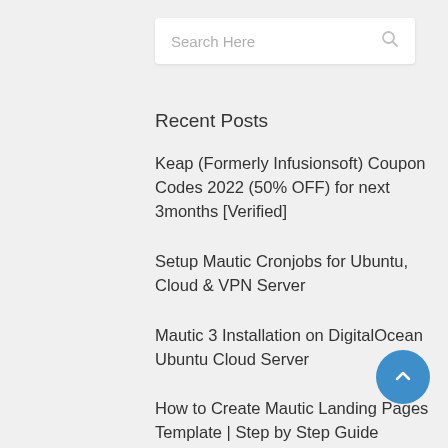Search Here
Recent Posts
Keap (Formerly Infusionsoft) Coupon Codes 2022 (50% OFF) for next 3months [Verified]
Setup Mautic Cronjobs for Ubuntu, Cloud & VPN Server
Mautic 3 Installation on DigitalOcean Ubuntu Cloud Server
How to Create Mautic Landing Pages Template | Step by Step Guide
How to Create Mautic Focus Items